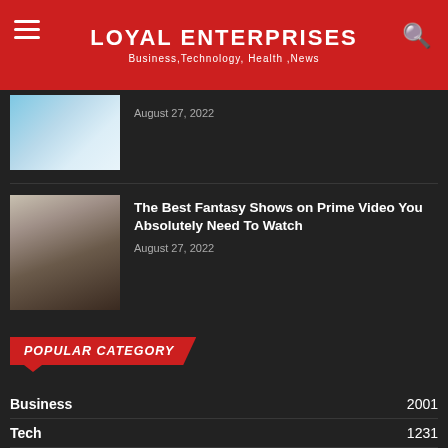LOYAL ENTERPRISES — Business,Technology, Health ,News
August 27, 2022
The Best Fantasy Shows on Prime Video You Absolutely Need To Watch
August 27, 2022
POPULAR CATEGORY
Business 2001
Tech 1231
Health 985
Food 12
Entertainment 1
Celebrity 0